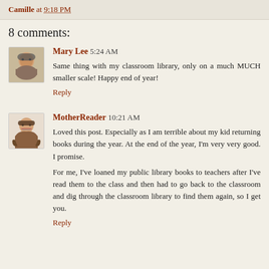Camille at 9:18 PM
8 comments:
Mary Lee 5:24 AM
Same thing with my classroom library, only on a much MUCH smaller scale! Happy end of year!
Reply
MotherReader 10:21 AM
Loved this post. Especially as I am terrible about my kid returning books during the year. At the end of the year, I'm very very good. I promise.
For me, I've loaned my public library books to teachers after I've read them to the class and then had to go back to the classroom and dig through the classroom library to find them again, so I get you.
Reply